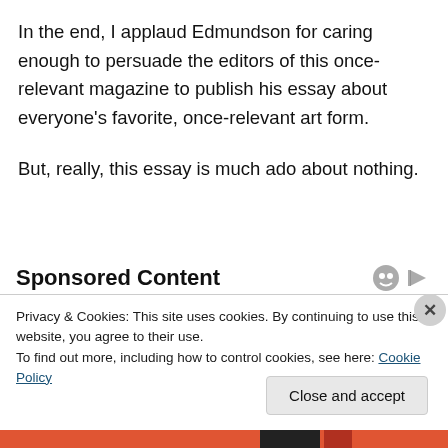In the end, I applaud Edmundson for caring enough to persuade the editors of this once-relevant magazine to publish his essay about everyone's favorite, once-relevant art form.
But, really, this essay is much ado about nothing.
Sponsored Content
Privacy & Cookies: This site uses cookies. By continuing to use this website, you agree to their use.
To find out more, including how to control cookies, see here: Cookie Policy
Close and accept